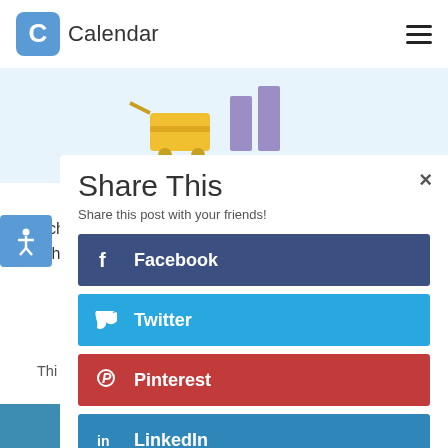Calendar
[Figure (screenshot): Partial website screenshot showing Calendar logo, hamburger menu, shopping cart illustration, and background article text partially obscured by modal]
Share This
Share this post with your friends!
Facebook
Twitter
Pinterest
LinkedIn